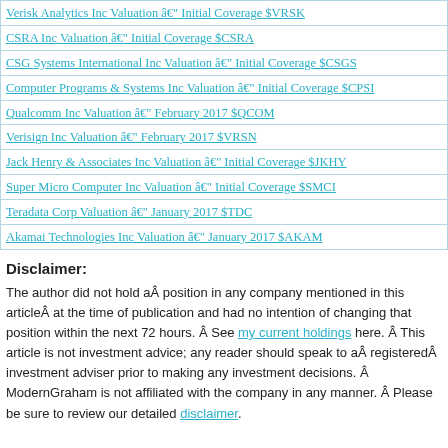Verisk Analytics Inc Valuation â€" Initial Coverage $VRSK
CSRA Inc Valuation â€" Initial Coverage $CSRA
CSG Systems International Inc Valuation â€" Initial Coverage $CSGS
Computer Programs & Systems Inc Valuation â€" Initial Coverage $CPSI
Qualcomm Inc Valuation â€" February 2017 $QCOM
Verisign Inc Valuation â€" February 2017 $VRSN
Jack Henry & Associates Inc Valuation â€" Initial Coverage $JKHY
Super Micro Computer Inc Valuation â€" Initial Coverage $SMCI
Teradata Corp Valuation â€" January 2017 $TDC
Akamai Technologies Inc Valuation â€" January 2017 $AKAM
Disclaimer:
The author did not hold aÂ position in any company mentioned in this articleÂ at the time of publication and had no intention of changing that position within the next 72 hours. Â See my current holdings here. Â This article is not investment advice; any reader should speak to aÂ registeredÂ investment adviser prior to making any investment decisions. Â ModernGraham is not affiliated with the company in any manner. Â Please be sure to review our detailed disclaimer.